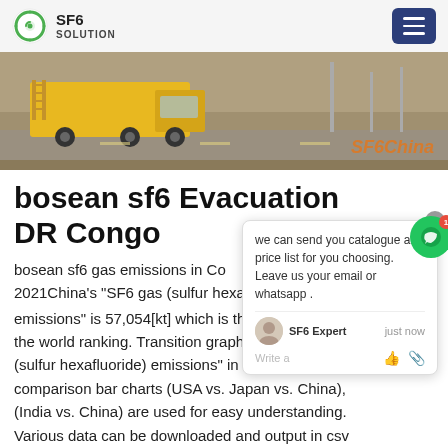SF6 SOLUTION
[Figure (photo): Yellow truck/vehicle on a road, outdoor scene with SF6China watermark in orange]
bosean sf6 Evacuation DR Congo
bosean sf6 gas emissions in Congo 2021China's "SF6 gas (sulfur hexafluoride) emissions" is 57,054[kt] which is the 1st highest in the world ranking. Transition graphs on "SF6 gas (sulfur hexafluoride) emissions" in China and comparison bar charts (USA vs. Japan vs. China), (India vs. China) are used for easy understanding. Various data can be downloaded and output in csv format for use.